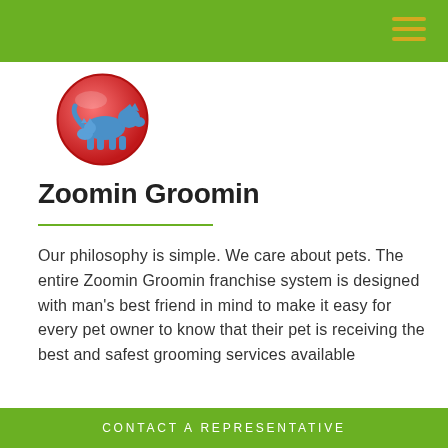[Figure (logo): Zoomin Groomin logo: circular red/pink gradient badge with a blue dog silhouette and smaller cat silhouette]
Zoomin Groomin
Our philosophy is simple. We care about pets. The entire Zoomin Groomin franchise system is designed with man's best friend in mind to make it easy for every pet owner to know that their pet is receiving the best and safest grooming services available
CONTACT A REPRESENTATIVE